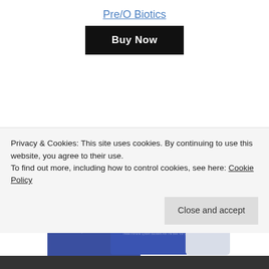Pre/O Biotics
Buy Now
[Figure (photo): 4Life Transfer Factor Plus product boxes and blister pack of capsules]
Privacy & Cookies: This site uses cookies. By continuing to use this website, you agree to their use.
To find out more, including how to control cookies, see here: Cookie Policy
Close and accept